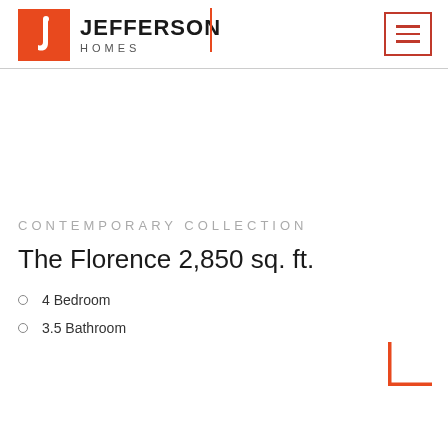[Figure (logo): Jefferson Homes logo with orange square icon containing a white 'j' letter, followed by text 'JEFFERSON' in bold and 'HOMES' in spaced letters below]
CONTEMPORARY COLLECTION
The Florence 2,850 sq. ft.
4 Bedroom
3.5 Bathroom